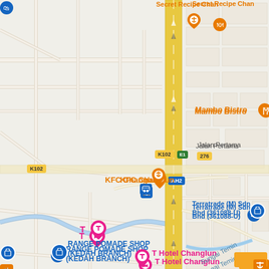[Figure (map): Google Maps view of Changlun, Kedah, Malaysia showing major roads including E1 highway (North-South Expressway), K102, road 276, AH2. Landmarks include KFC Changlun, T Hotel Changlun, Range Pomade Shop (Kedah Branch), Terratrade (M) Sdn Bhd (361088-U), SK Dato' Wan Kemara, Mambo Bistro, Secret Recipe Changlun. Sungai Temin river visible. Various road blocks and urban layout shown.]